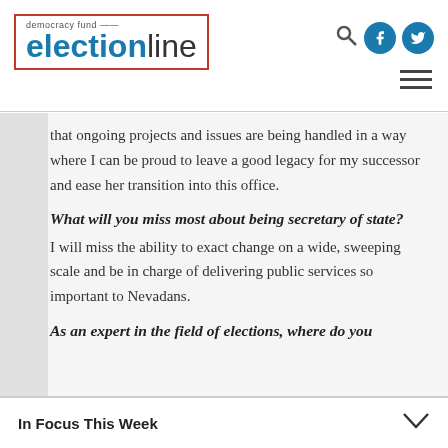democracy fund electionline
that ongoing projects and issues are being handled in a way where I can be proud to leave a good legacy for my successor and ease her transition into this office.
What will you miss most about being secretary of state?
I will miss the ability to exact change on a wide, sweeping scale and be in charge of delivering public services so important to Nevadans.
As an expert in the field of elections, where do you
In Focus This Week